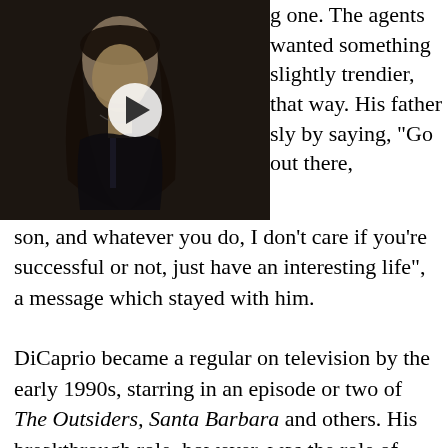[Figure (photo): Video thumbnail showing a person with long dark hair, dark background, with a white circular play button overlay in the center]
g one. The agents wanted something slightly trendier, that way. His father sly by saying, "Go out there, son, and whatever you do, I don't care if you're successful or not, just have an interesting life", a message which stayed with him.
DiCaprio became a regular on television by the early 1990s, starring in an episode or two of The Outsiders, Santa Barbara and others. His breakthrough role, however, was the role of Gary Buckman, a troubled teen, in The Parenthood. The actor, who was quite observant from an early age, reportedly paid close attention to Joaquin Phoenix's performance in the film the series had been adapted from. This role earned